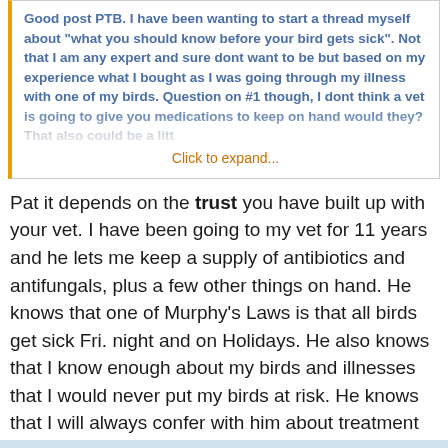Good post PTB. I have been wanting to start a thread myself about "what you should know before your bird gets sick". Not that I am any expert and sure dont want to be but based on my experience what I bought as I was going through my illness with one of my birds. Question on #1 though, I dont think a vet is going to give you medications to keep on hand would they? That also could be a little... Click to expand...
Pat it depends on the trust you have built up with your vet. I have been going to my vet for 11 years and he lets me keep a supply of antibiotics and antifungals, plus a few other things on hand. He knows that one of Murphy's Laws is that all birds get sick Fri. night and on Holidays. He also knows that I know enough about my birds and illnesses that I would never put my birds at risk. He knows that I will always confer with him about treatment whether before or after the fact.
ML